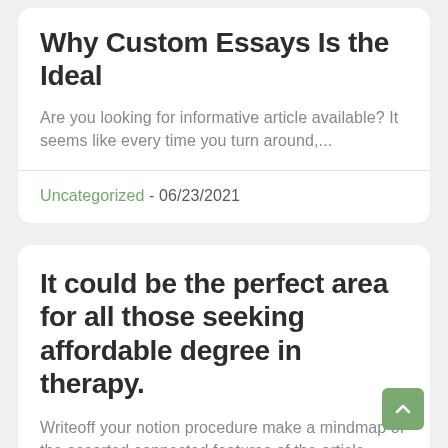Why Custom Essays Is the Ideal
Are you looking for informative article available? It seems like every time you turn around,...
Uncategorized - 06/23/2021
It could be the perfect area for all those seeking affordable degree in therapy.
Writeoff your notion procedure make a mindmap of the assorted connected features of the article...